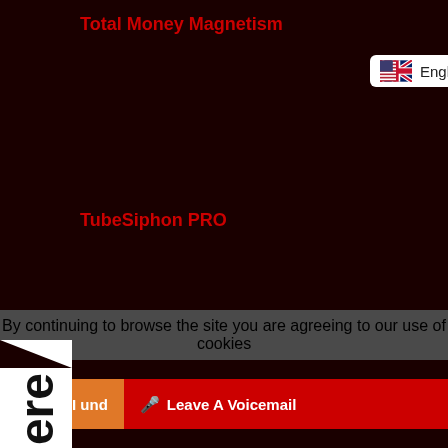Total Money Magnetism
[Figure (other): English language selector button with UK/US flag icon]
TubeSiphon PRO
[Figure (other): Click Here sidebar tab on the left side of the page, rotated vertical text]
TrafficMate
Snatch It
By continuing to browse the site you are agreeing to our use of cookies
I und...
Leave A Voicemail